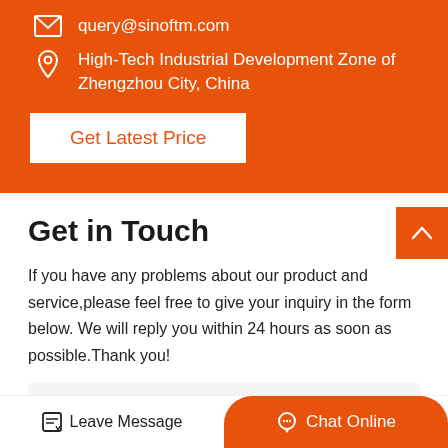query@sinoftm.com
High-Tech Industrial Development Zone of Zhengzhou City, China
Get Latest Price
Get in Touch
If you have any problems about our product and service,please feel free to give your inquiry in the form below. We will reply you within 24 hours as soon as possible.Thank you!
Product Name*
Leave Message
Chat Online